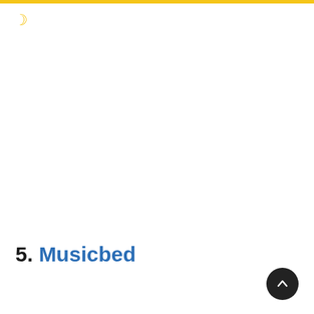[Figure (illustration): Crescent moon icon in golden/yellow color in the top-left area of the page]
5. Musicbed
[Figure (other): Dark circular button with upward arrow in the bottom-right corner]